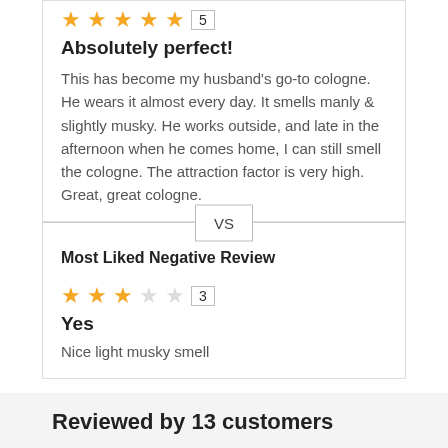★★★★★ 5
Absolutely perfect!
This has become my husband's go-to cologne. He wears it almost every day. It smells manly & slightly musky. He works outside, and late in the afternoon when he comes home, I can still smell the cologne. The attraction factor is very high. Great, great cologne.
VS
Most Liked Negative Review
★★★☆☆ 3
Yes
Nice light musky smell
Reviewed by 13 customers
Most Recent